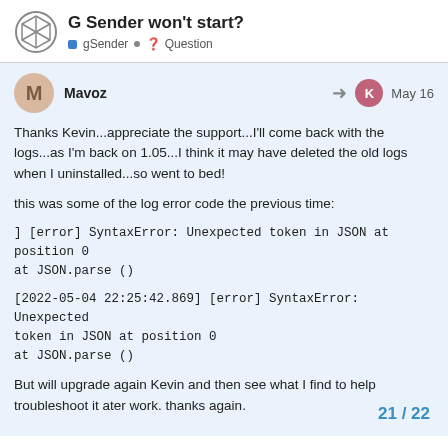G Sender won't start? | gSender | Question
Mavoz — May 16
Thanks Kevin...appreciate the support...I'll come back with the logs...as I'm back on 1.05...I think it may have deleted the old logs when I uninstalled...so went to bed!

this was some of the log error code the previous time:

] [error] SyntaxError: Unexpected token in JSON at position 0
at JSON.parse ()

[2022-05-04 22:25:42.869] [error] SyntaxError: Unexpected token in JSON at position 0
at JSON.parse ()

But will upgrade again Kevin and then see what I find to help troubleshoot it ater work. thanks again.
21 / 22